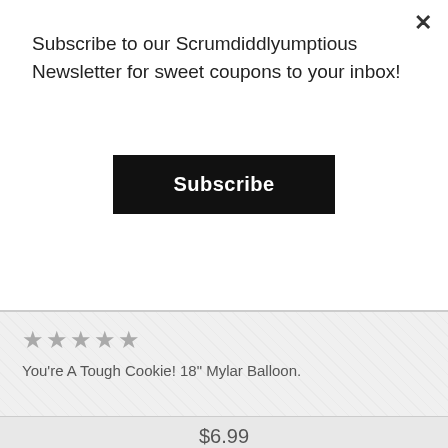Subscribe to our Scrumdiddlyumptious Newsletter for sweet coupons to your inbox!
Subscribe
[Figure (screenshot): Close (X) button for modal dialog]
★★★★★
You're A Tough Cookie! 18" Mylar Balloon.
$6.99
ADD TO CART
[Figure (photo): Blue star mylar balloon thumbnail image]
Send an email after hour...